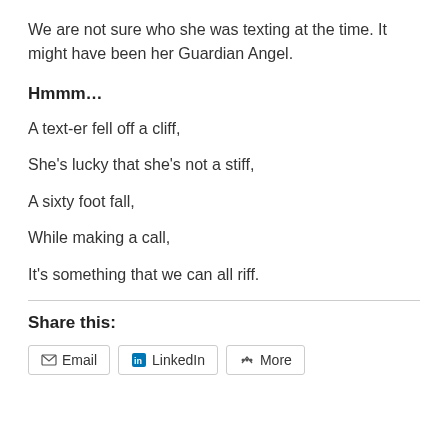We are not sure who she was texting at the time. It might have been her Guardian Angel.
Hmmm...
A text-er fell off a cliff,
She’s lucky that she’s not a stiff,
A sixty foot fall,
While making a call,
It’s something that we can all riff.
Share this:
Email  LinkedIn  More